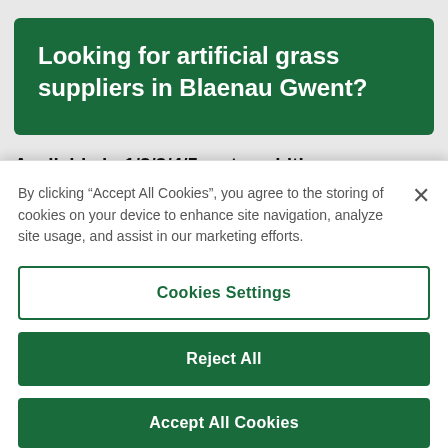Looking for artificial grass suppliers in Blaenau Gwent?
Available in 1/2/3/4/5 metre widths.
To view our full range of products, or to place an
By clicking “Accept All Cookies”, you agree to the storing of cookies on your device to enhance site navigation, analyze site usage, and assist in our marketing efforts.
Cookies Settings
Reject All
Accept All Cookies